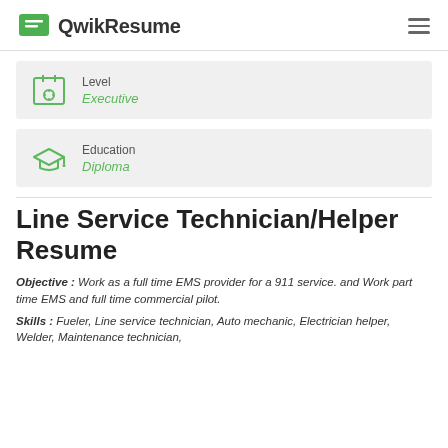QwikResume
Level
Executive
Education
Diploma
Line Service Technician/Helper Resume
Objective : Work as a full time EMS provider for a 911 service. and Work part time EMS and full time commercial pilot.
Skills : Fueler, Line service technician, Auto mechanic, Electrician helper, Welder, Maintenance technician,